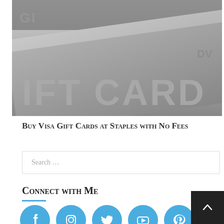[Figure (photo): Close-up black and white photo of a gift card with text 'IFT CARD' visible]
Buy Visa Gift Cards at Staples with No Fees
Search …
Connect with Me
[Figure (infographic): Social media icons row: Facebook, Instagram, Twitter, YouTube, Pinterest — all in blue circles]